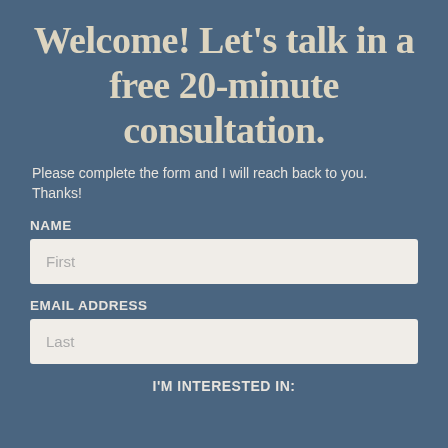Welcome! Let's talk in a free 20-minute consultation.
Please complete the form and I will reach back to you. Thanks!
NAME
First
EMAIL ADDRESS
Last
I'M INTERESTED IN: